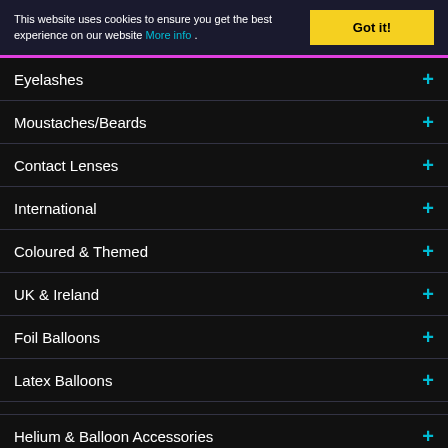This website uses cookies to ensure you get the best experience on our website More info .
Eyelashes
Moustaches/Beards
Contact Lenses
International
Coloured & Themed
UK & Ireland
Foil Balloons
Latex Balloons
Helium & Balloon Accessories
Hen/Stag/Adults
Party Novelties
Tableware
Decorations